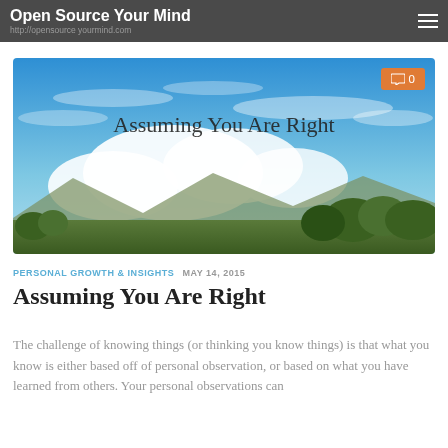Open Source Your Mind
[Figure (photo): Landscape photo showing a blue sky with wispy clouds, mountains in the background, and green trees in the foreground. Text overlay reads 'Assuming You Are Right'. An orange comment badge in the top-right corner shows '0'.]
PERSONAL GROWTH & INSIGHTS  MAY 14, 2015
Assuming You Are Right
The challenge of knowing things (or thinking you know things) is that what you know is either based off of personal observation, or based on what you have learned from others. Your personal observations can